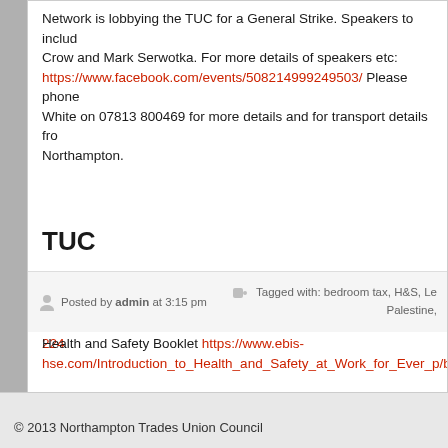Network is lobbying the TUC for a General Strike. Speakers to include Bob Crow and Mark Serwotka. For more details of speakers etc: https://www.facebook.com/events/508214999249503/ Please phone White on 07813 800469 for more details and for transport details from Northampton.
TUC
TUC Congress 2013 Final Agenda Motions submitted for debate at TUC Congress 2013 in Eastbourne. http://www.tuc.org.uk/the_tuc/tuc-224...
Health and Safety Booklet https://www.ebis-hse.com/Introduction_to_Health_and_Safety_at_Work_for_Ever_p/b...
Posted by admin at 3:15 pm
Tagged with: bedroom tax, H&S, Le... Palestine,...
© 2013 Northampton Trades Union Council